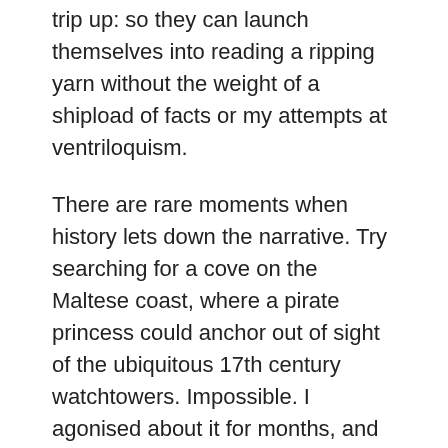trip up: so they can launch themselves into reading a ripping yarn without the weight of a shipload of facts or my attempts at ventriloquism.
There are rare moments when history lets down the narrative. Try searching for a cove on the Maltese coast, where a pirate princess could anchor out of sight of the ubiquitous 17th century watchtowers. Impossible. I agonised about it for months, and then simply made one up.
Historian Mark McKenna (author of Looking for Blackfellas' Point) recently bemoaned the idea that, in Australia, “writers of fiction are now more commonly seen as the most trustworthy purveyors of the past” than professional historians. He questioned what he